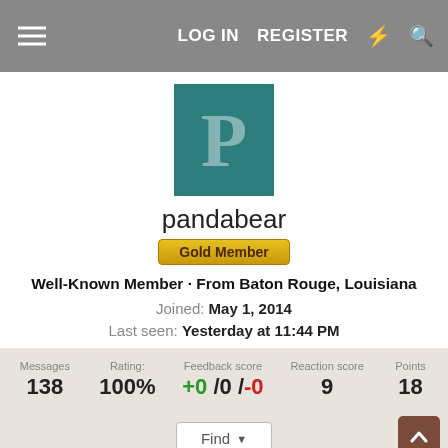LOG IN  REGISTER
[Figure (illustration): Profile avatar: teal square with large white letter P]
pandabear
Gold Member
Well-Known Member · From Baton Rouge, Louisiana
Joined: May 1, 2014
Last seen: Yesterday at 11:44 PM
| Messages | Rating: | Feedback score | Reaction score | Points |
| --- | --- | --- | --- | --- |
| 138 | 100% | +0 /0 /-0 | 9 | 18 |
Find ▼
Profile posts  Latest activity  Postings  About